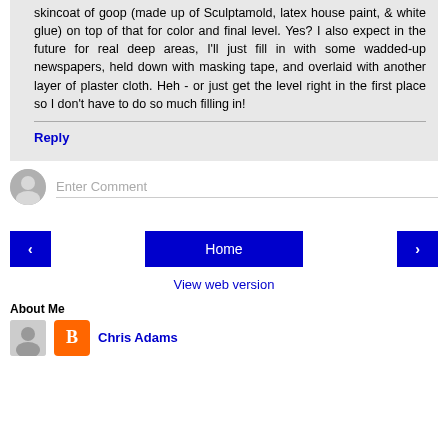skincoat of goop (made up of Sculptamold, latex house paint, & white glue) on top of that for color and final level. Yes? I also expect in the future for real deep areas, I'll just fill in with some wadded-up newspapers, held down with masking tape, and overlaid with another layer of plaster cloth. Heh - or just get the level right in the first place so I don't have to do so much filling in!
Reply
Enter Comment
Home
View web version
About Me
Chris Adams